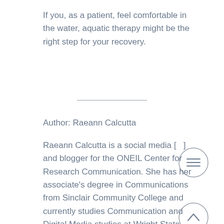If you, as a patient, feel comfortable in the water, aquatic therapy might be the right step for your recovery.
Author: Raeann Calcutta
Raeann Calcutta is a social media [manager] and blogger for the ONEIL Center for Research Communication. She has her associate's degree in Communications from Sinclair Community College and currently studies Communication and Digital Media studies at Wright State University in Dayton, Ohio.